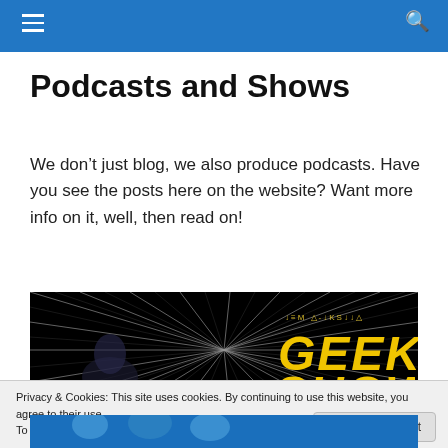Podcasts and Shows
We don't just blog, we also produce podcasts. Have you see the posts here on the website? Want more info on it, well, then read on!
[Figure (photo): Geek show promotional image with Star Wars-style speed lines on black background and yellow 'GEEK SHOW' text in Star Wars font style]
Privacy & Cookies: This site uses cookies. By continuing to use this website, you agree to their use.
To find out more, including how to control cookies, see here: Cookie Policy
[Figure (photo): Bottom portion showing people in blue, partially visible]